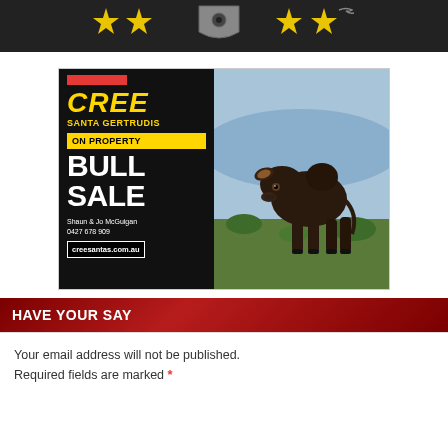[Figure (logo): Dark banner with yellow and grey shield/star logo icons on dark background]
[Figure (illustration): Cree Santa Gertrudis On Property Bull Sale advertisement. Left side black background with gold CREE text, SANTA GERTRUDIS subtitle, yellow ON PROPERTY banner, large BULL SALE white text, Shaun & Jo McGuigan contact 0427 678 909, website creesantas.com.au. Right side photo of a large dark brown Santa Gertrudis bull standing in a field.]
HAVE YOUR SAY
Your email address will not be published. Required fields are marked *